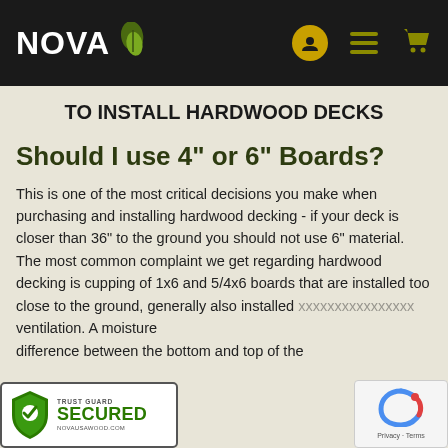NOVA [logo with leaf icon] [user icon] [menu icon] [cart icon]
TO INSTALL HARDWOOD DECKS
Should I use 4" or 6" Boards?
This is one of the most critical decisions you make when purchasing and installing hardwood decking - if your deck is closer than 36" to the ground you should not use 6" material. The most common complaint we get regarding hardwood decking is cupping of 1x6 and 5/4x6 boards that are installed too close to the ground, generally also installed [without adequate] ventilation. A moisture difference between the bottom and top of the